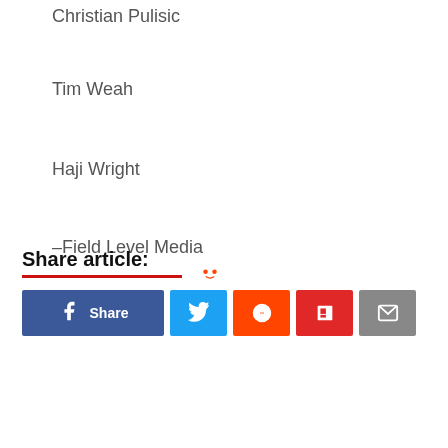Christian Pulisic
Tim Weah
Haji Wright
–Field Level Media
Share article:
[Figure (other): Social share buttons: Facebook Share, Twitter, Reddit, Flipboard, Email]